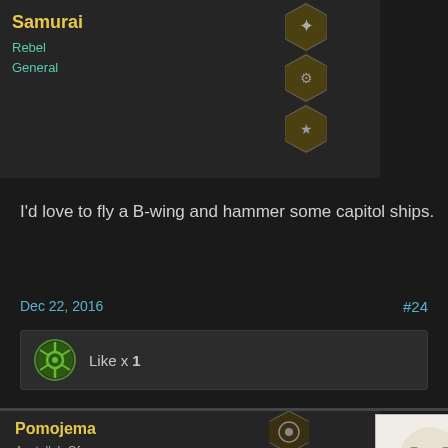Samurai
Rebel General
I'd love to fly a B-wing and hammer some capitol ships.
Dec 22, 2016
#24
Like x 1
Pomojema
Ayatollah Of Rock-&-Rolla
Staff Member
SKB said: ↑